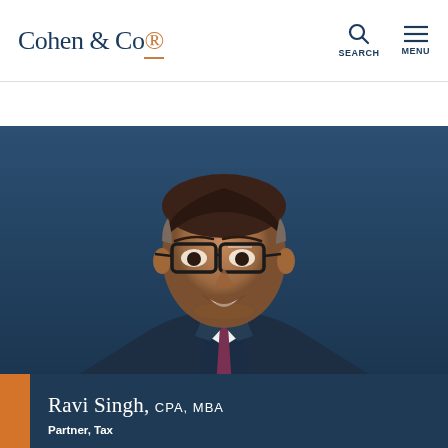Cohen & Co
Back to People
[Figure (photo): Professional headshot of Ravi Singh, a man in a dark suit with glasses and a burgundy tie, smiling, set against a dark navy background.]
Ravi Singh, CPA, MBA
Partner, Tax